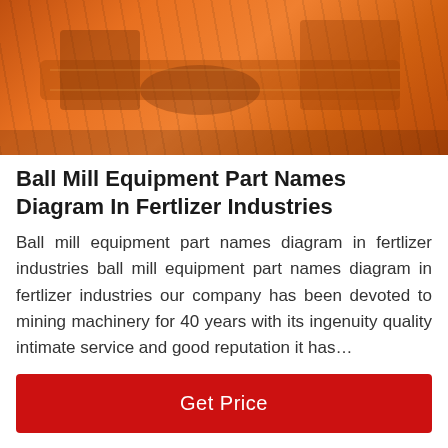[Figure (photo): Orange/red industrial ball mill equipment machinery, close-up view showing mechanical parts]
Ball Mill Equipment Part Names Diagram In Fertlizer Industries
Ball mill equipment part names diagram in fertlizer industries ball mill equipment part names diagram in fertlizer industries our company has been devoted to mining machinery for 40 years with its ingenuity quality intimate service and good reputation it has…
[Figure (screenshot): Get Price button - red rectangular button with white text]
[Figure (photo): Industrial facility building with crane/equipment in red and grey tones, with customer service representative avatar and chat bar at bottom showing Leave Message and Chat Online options]